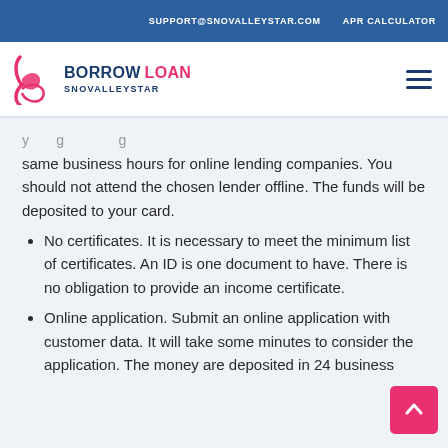SUPPORT@SNOVALLEYSTAR.COM   APR CALCULATOR
[Figure (logo): Borrow Loan SnoValleyStar logo with stylized 'b' icon in pink/red and dark blue text]
same business hours for online lending companies. You should not attend the chosen lender offline. The funds will be deposited to your card.
No certificates. It is necessary to meet the minimum list of certificates. An ID is one document to have. There is no obligation to provide an income certificate.
Online application. Submit an online application with customer data. It will take some minutes to consider the application. The money are deposited in 24 business